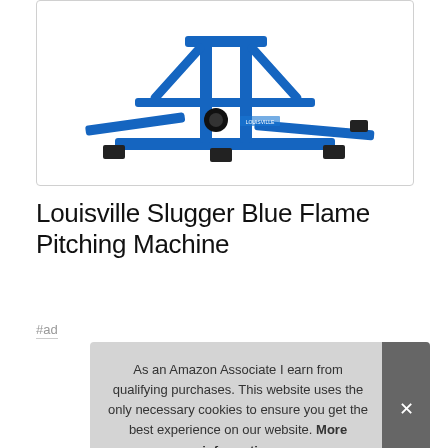[Figure (photo): Blue Louisville Slugger Blue Flame Pitching Machine on white background, showing the metal frame base with rubber feet and adjustment mechanisms]
Louisville Slugger Blue Flame Pitching Machine
#ad
As an Amazon Associate I earn from qualifying purchases. This website uses the only necessary cookies to ensure you get the best experience on our website. More information